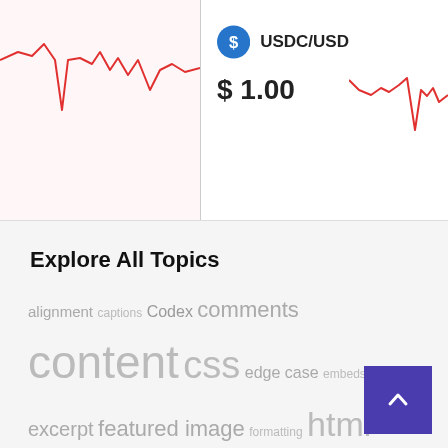[Figure (continuous-plot): Red line chart on white/pink background showing price fluctuations, left portion of ticker bar]
[Figure (infographic): USDC/USD coin price display with blue coin icon showing $1.00]
[Figure (continuous-plot): Red line chart on white background showing USDC/USD price fluctuations, right portion of ticker bar]
Explore All Topics
alignment captions Codex comments content css edge case embeds excerpt featured image formatting html image markup media pagination password pingbacks post read more template title trackbacks twitter
Get In Touch
[Figure (other): Purple back-to-top button with upward chevron arrow]